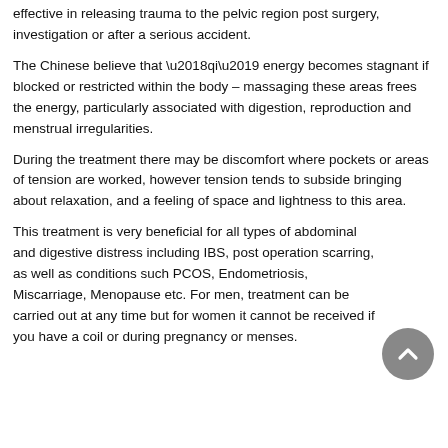effective in releasing trauma to the pelvic region post surgery, investigation or after a serious accident.
The Chinese believe that ‘qi’ energy becomes stagnant if blocked or restricted within the body – massaging these areas frees the energy, particularly associated with digestion, reproduction and menstrual irregularities.
During the treatment there may be discomfort where pockets or areas of tension are worked, however tension tends to subside bringing about relaxation, and a feeling of space and lightness to this area.
This treatment is very beneficial for all types of abdominal and digestive distress including IBS, post operation scarring, as well as conditions such PCOS, Endometriosis, Miscarriage, Menopause etc. For men, treatment can be carried out at any time but for women it cannot be received if you have a coil or during pregnancy or menses.
[Figure (other): Back to top button - circular grey button with upward chevron arrow]